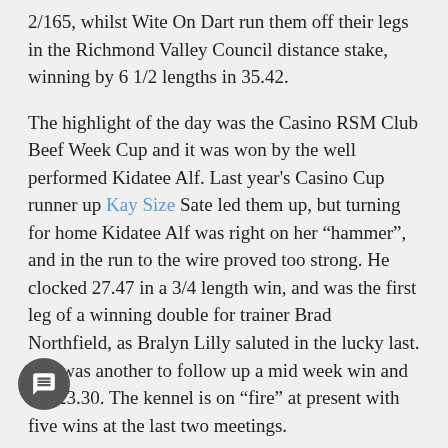2/165, whilst Wite On Dart run them off their legs in the Richmond Valley Council distance stake, winning by 6 1/2 lengths in 35.42.
The highlight of the day was the Casino RSM Club Beef Week Cup and it was won by the well performed Kidatee Alf. Last year's Casino Cup runner up Kay Size Sate led them up, but turning for home Kidatee Alf was right on her "hammer", and in the run to the wire proved too strong. He clocked 27.47 in a 3/4 length win, and was the first leg of a winning double for trainer Brad Northfield, as Bralyn Lilly saluted in the lucky last. She was another to follow up a mid week win and ran 23.30. The kennel is on "fire" at present with five wins at the last two meetings.
Amika gave the Marilyn Johnson / Pat Blore combination a change of luck when she was successful in the Pfizer Animal Health stake. She ran a very good race at her last start, and from two was well placed throughout. Proving too strong over the concluding stages, she was able to get home by a half a head in a